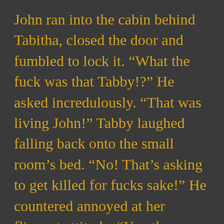John ran into the cabin behind Tabitha, closed the door and fumbled to lock it. “What the fuck was that Tabby!?” He asked incredulously. “That was living John!” Tabby laughed falling back onto the small room’s bed. “No! That’s asking to get killed for fucks sake!” He countered annoyed at her flippant attitude. “You threw a rock at a fucking bear!” He continued as he looked out through the window to see if the beast was about to break down the door. “John, we’re safe